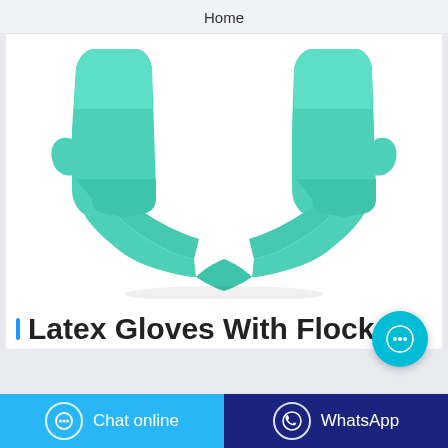Home
[Figure (photo): Two green nitrile/latex flock-lined gloves posed with wrists up and fingers meeting in a V shape against a white background.]
Latex Gloves With Flock
Chat online
WhatsApp